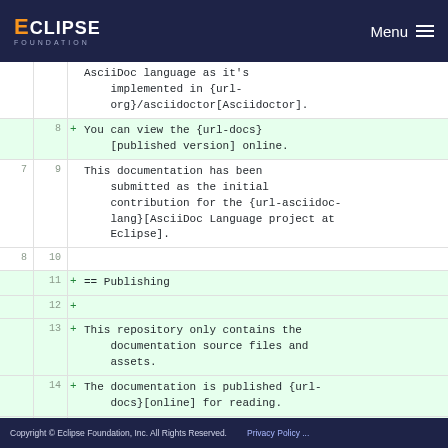Eclipse Foundation — Menu
| old | new | +/- | content |
| --- | --- | --- | --- |
|  |  |  | AsciiDoc language as it's implemented in {url-org}/asciidoctor[Asciidoctor]. |
|  | 8 | + | You can view the {url-docs}[published version] online. |
| 7 | 9 |  | This documentation has been submitted as the initial contribution for the {url-asciidoc-lang}[AsciiDoc Language project at Eclipse]. |
| 8 | 10 |  |  |
|  | 11 | + | == Publishing |
|  | 12 | + |  |
|  | 13 | + | This repository only contains the documentation source files and assets. |
|  | 14 | + | The documentation is published {url-docs}[online] for reading. |
|  | 15 | + | Although you can view a preview of the files through the GitHub... |
Copyright © Eclipse Foundation, Inc. All Rights Reserved.    Privacy Policy ...